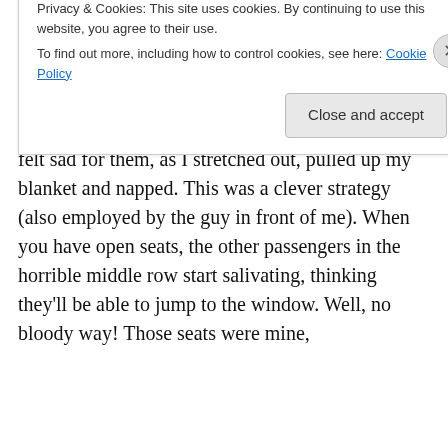pancake machine in the Air New Zealand Lounge (an AC partner). The flight was long (13+ hours), but I scored big with an entire row of 3 seats to myself! I had a seatmate, but he got bumped to business; other people missed their connection… I felt sad for them, as I stretched out, pulled up my blanket and napped. This was a clever strategy (also employed by the guy in front of me). When you have open seats, the other passengers in the horrible middle row start salivating, thinking they'll be able to jump to the window. Well, no bloody way! Those seats were mine,
Privacy & Cookies: This site uses cookies. By continuing to use this website, you agree to their use.
To find out more, including how to control cookies, see here: Cookie Policy